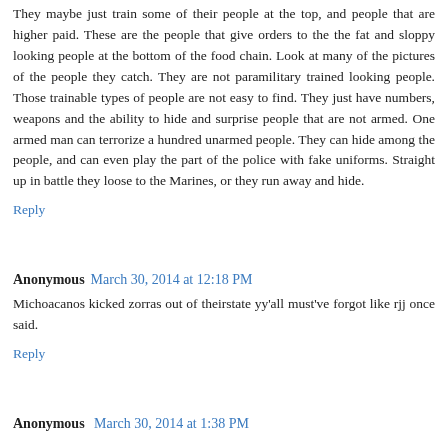They maybe just train some of their people at the top, and people that are higher paid. These are the people that give orders to the the fat and sloppy looking people at the bottom of the food chain. Look at many of the pictures of the people they catch. They are not paramilitary trained looking people. Those trainable types of people are not easy to find. They just have numbers, weapons and the ability to hide and surprise people that are not armed. One armed man can terrorize a hundred unarmed people. They can hide among the people, and can even play the part of the police with fake uniforms. Straight up in battle they loose to the Marines, or they run away and hide.
Reply
Anonymous March 30, 2014 at 12:18 PM
Michoacanos kicked zorras out of theirstate yy'all must've forgot like rjj once said.
Reply
Anonymous March 30, 2014 at 1:38 PM